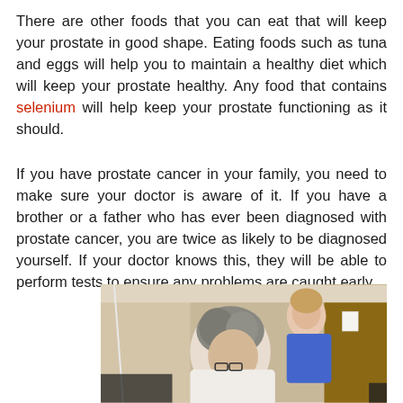There are other foods that you can eat that will keep your prostate in good shape. Eating foods such as tuna and eggs will help you to maintain a healthy diet which will keep your prostate healthy. Any food that contains selenium will help keep your prostate functioning as it should.
If you have prostate cancer in your family, you need to make sure your doctor is aware of it. If you have a brother or a father who has ever been diagnosed with prostate cancer, you are twice as likely to be diagnosed yourself. If your doctor knows this, they will be able to perform tests to ensure any problems are caught early.
[Figure (photo): A medical scene showing a doctor or patient leaning forward, a healthcare worker in blue scrubs standing behind, in a clinical room setting.]